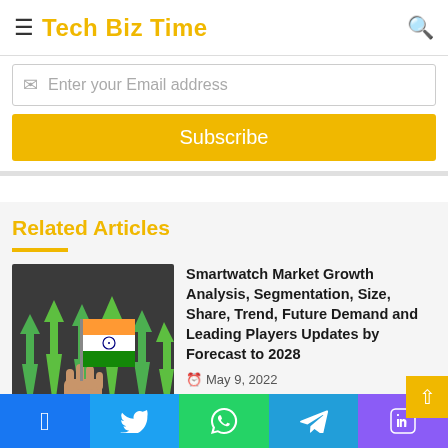Tech Biz Time
Enter your Email address
Subscribe
Related Articles
[Figure (photo): Hand holding Indian flag with green upward arrows in background]
Smartwatch Market Growth Analysis, Segmentation, Size, Share, Trend, Future Demand and Leading Players Updates by Forecast to 2028
May 9, 2022